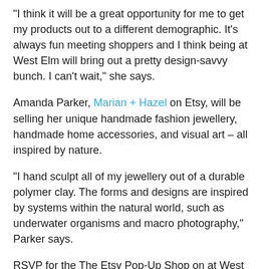"I think it will be a great opportunity for me to get my products out to a different demographic. It's always fun meeting shoppers and I think being at West Elm will bring out a pretty design-savvy bunch. I can't wait," she says.
Amanda Parker, Marian + Hazel on Etsy, will be selling her unique handmade fashion jewellery, handmade home accessories, and visual art – all inspired by nature.
"I hand sculpt all of my jewellery out of a durable polymer clay. The forms and designs are inspired by systems within the natural world, such as underwater organisms and macro photography," Parker says.
RSVP for the The Etsy Pop-Up Shop on at West Elm Vancouver's Facebook page and check out all the featured artists on West Elm's blog.